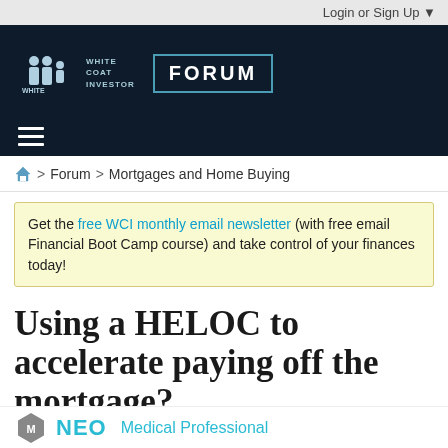Login or Sign Up ▼
[Figure (logo): White Coat Investor Forum logo with navy background, WCI icon and FORUM badge]
≡ (hamburger menu)
🏠 > Forum > Mortgages and Home Buying
Get the free WCI monthly email newsletter (with free email Financial Boot Camp course) and take control of your finances today!
Using a HELOC to accelerate paying off the mortgage?
NEO  Medical Professional